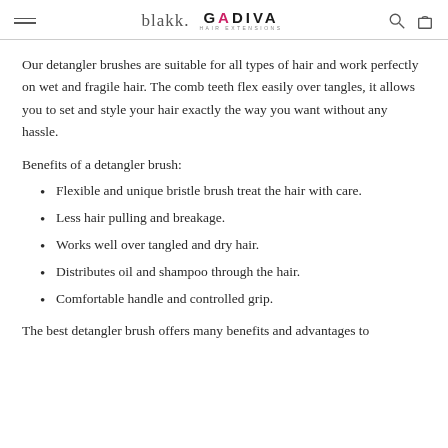blakk. GADIVA HAIR EXTENSIONS
Our detangler brushes are suitable for all types of hair and work perfectly on wet and fragile hair. The comb teeth flex easily over tangles, it allows you to set and style your hair exactly the way you want without any hassle.
Benefits of a detangler brush:
Flexible and unique bristle brush treat the hair with care.
Less hair pulling and breakage.
Works well over tangled and dry hair.
Distributes oil and shampoo through the hair.
Comfortable handle and controlled grip.
The best detangler brush offers many benefits and advantages to